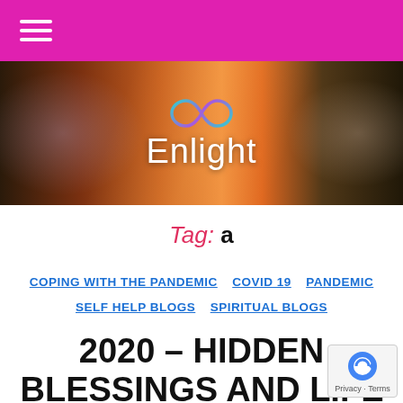≡ (hamburger menu)
[Figure (illustration): Enlight website banner with landscape background (sunset/dusk with colorful light streaks), an infinity symbol in teal/purple gradient, and 'Enlight' text in white]
Tag: a
COPING WITH THE PANDEMIC  COVID 19  PANDEMIC  SELF HELP BLOGS  SPIRITUAL BLOGS
2020 – HIDDEN BLESSINGS AND LIFE LESSONS